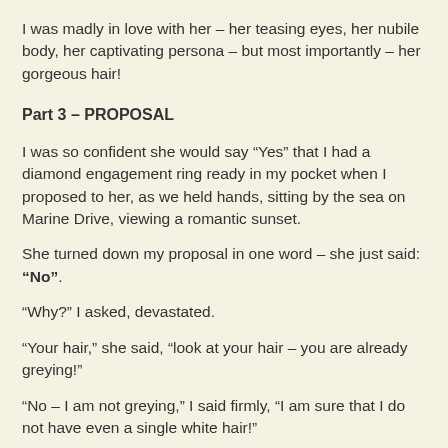I was madly in love with her – her teasing eyes, her nubile body, her captivating persona – but most importantly – her gorgeous hair!
Part 3 – PROPOSAL
I was so confident she would say “Yes” that I had a diamond engagement ring ready in my pocket when I proposed to her, as we held hands, sitting by the sea on Marine Drive, viewing a romantic sunset.
She turned down my proposal in one word – she just said: “No”.
“Why?” I asked, devastated.
“Your hair,” she said, “look at your hair – you are already greying!”
“No – I am not greying,” I said firmly, “I am sure that I do not have even a single white hair!”
“Yes, you do,” she said, “go home and have a look in the